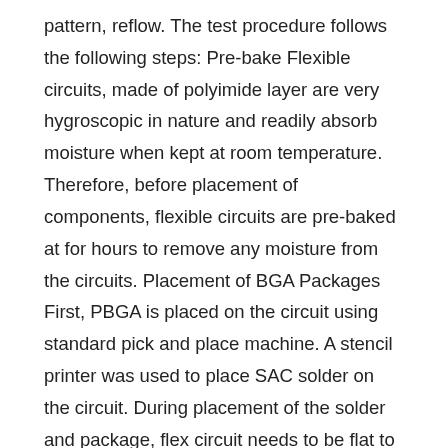pattern, reflow. The test procedure follows the following steps: Pre-bake Flexible circuits, made of polyimide layer are very hygroscopic in nature and readily absorb moisture when kept at room temperature. Therefore, before placement of components, flexible circuits are pre-baked at for hours to remove any moisture from the circuits. Placement of BGA Packages First, PBGA is placed on the circuit using standard pick and place machine. A stencil printer was used to place SAC solder on the circuit. During placement of the solder and package, flex circuit needs to be flat to perfectly mount the component and to avoid any resistivity errors. Therefore, both, pallete and vacuum fixture were used to keep the circuit flat during this process. For CABGA , only pallete was used because of the pocket to flush in PBGA , which vacuum fixture lacks in. Fabricated circuits on the pallete are shown in Fig. . From the Fig. , it can be seen that the size of the sintered stainless steel block is greater than the size of the flex circuit. Therefore, Kapton tape was used as shown in Fig. to cover the exposed area and the through-holes on the circuit to direct the vacuum suction force on